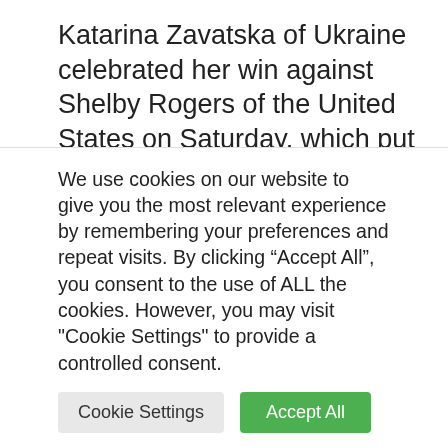Katarina Zavatska of Ukraine celebrated her win against Shelby Rogers of the United States on Saturday, which put the countries in a 2-2 tie.Credit...Susan Mullane/USA Today Sports, via Reuters
Credit...Susan Mullane/USA Today Sports, via Reuters
The arena in Asheville, in scale and design, reminded Savchuk and Yastremska of where
We use cookies on our website to give you the most relevant experience by remembering your preferences and repeat visits. By clicking “Accept All”, you consent to the use of ALL the cookies. However, you may visit "Cookie Settings" to provide a controlled consent.